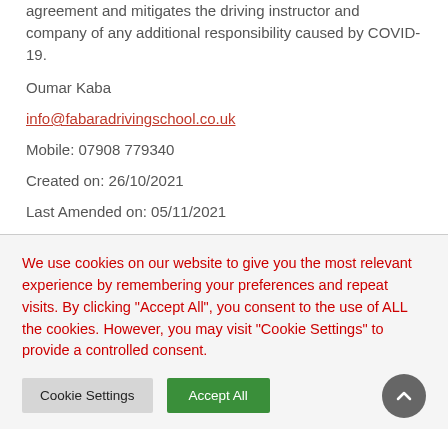Accepting these terms and conditions shows understanding, agreement and mitigates the driving instructor and company of any additional responsibility caused by COVID-19.
Oumar Kaba
info@fabaradrivingschool.co.uk
Mobile: 07908 779340
Created on: 26/10/2021
Last Amended on: 05/11/2021
We use cookies on our website to give you the most relevant experience by remembering your preferences and repeat visits. By clicking "Accept All", you consent to the use of ALL the cookies. However, you may visit "Cookie Settings" to provide a controlled consent.